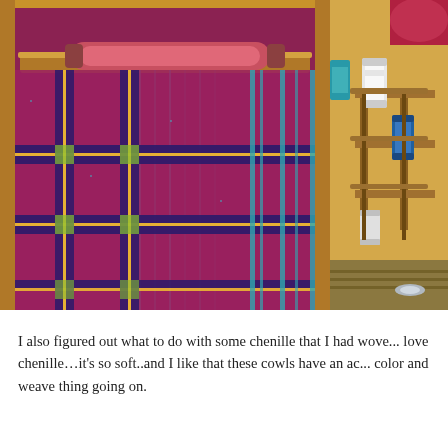[Figure (photo): Close-up photograph of a weaving loom with magenta/purple chenille fabric on the loom, showing a plaid-like pattern with blue and yellow accent stripes. A pink bobbin/shuttle is resting across the top of the loom frame made of wood.]
[Figure (photo): Partial photograph on the right side showing spools of thread (blue and white) on a wooden thread holder/rack, with yarn and weaving supplies visible.]
I also figured out what to do with some chenille that I had wove... love chenille…it's so soft..and I like that these cowls have an ac... color and weave thing going on.